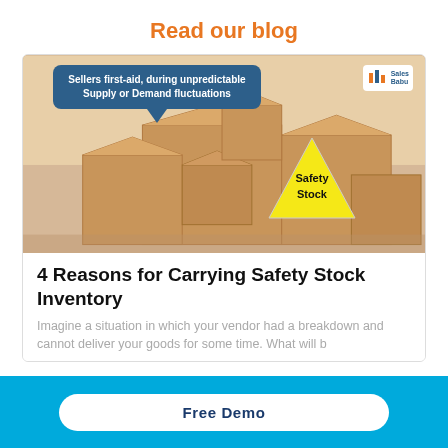Read our blog
[Figure (illustration): Blog post card image showing stacked cardboard boxes with a yellow safety stock triangle symbol and a blue speech bubble saying Sellers first-aid, during unpredictable Supply or Demand fluctuations, with SalesBabu logo in top right corner]
4 Reasons for Carrying Safety Stock Inventory
Imagine a situation in which your vendor had a breakdown and cannot deliver your goods for some time. What will b
Free Demo